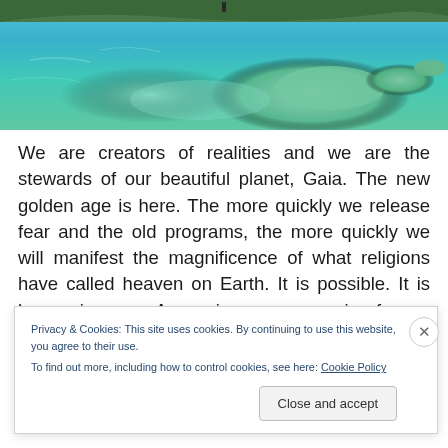[Figure (photo): Aerial photograph of a tropical coastline and turquoise ocean with small coral reef islands and shallow water, viewed from above. A small boat is visible near the top.]
We are creators of realities and we are the stewards of our beautiful planet, Gaia. The new golden age is here. The more quickly we release fear and the old programs, the more quickly we will manifest the magnificence of what religions have called heaven on Earth. It is possible. It is happening now. Ascension means moving from a lower
Privacy & Cookies: This site uses cookies. By continuing to use this website, you agree to their use.
To find out more, including how to control cookies, see here: Cookie Policy
Close and accept